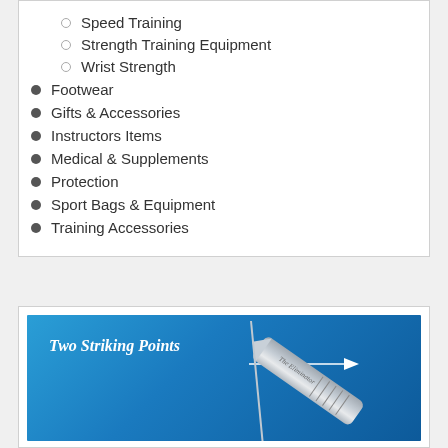Speed Training
Strength Training Equipment
Wrist Strength
Footwear
Gifts & Accessories
Instructors Items
Medical & Supplements
Protection
Sport Bags & Equipment
Training Accessories
[Figure (photo): Product image on blue gradient background showing a metallic weapon/striking tool with text 'Two Striking Points' and an arrow pointing to the striking end. The weapon appears to be labeled 'The Eliminator'.]